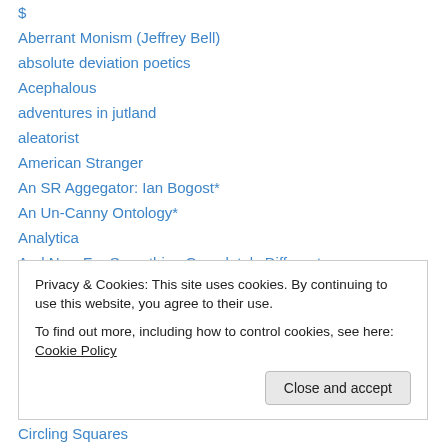$
Aberrant Monism (Jeffrey Bell)
absolute deviation poetics
Acephalous
adventures in jutland
aleatorist
American Stranger
An SR Aggegator: Ian Bogost*
An Un-Canny Ontology*
Analytica
And Now For Something Completely Different
Another Heidegger Blog**
Antigram
Privacy & Cookies: This site uses cookies. By continuing to use this website, you agree to their use. To find out more, including how to control cookies, see here: Cookie Policy
Circling Squares